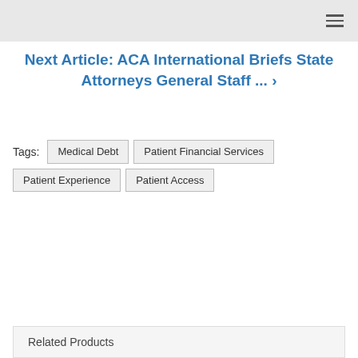Next Article: ACA International Briefs State Attorneys General Staff ... ❯
Tags: Medical Debt  Patient Financial Services  Patient Experience  Patient Access
Related Products